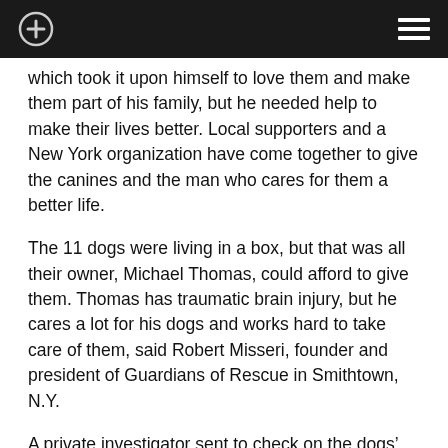[navigation bar with plus icon and menu icon]
which took it upon himself to love them and make them part of his family, but he needed help to make their lives better. Local supporters and a New York organization have come together to give the canines and the man who cares for them a better life.
The 11 dogs were living in a box, but that was all their owner, Michael Thomas, could afford to give them. Thomas has traumatic brain injury, but he cares a lot for his dogs and works hard to take care of them, said Robert Misseri, founder and president of Guardians of Rescue in Smithtown, N.Y.
A private investigator sent to check on the dogs' situation learned that Thomas was doing the best he could for them, Misseri, who was in Wythe County, told the Bluefield Daily Telegraph.
“While Mr. Thomas is not the most ideal pet owner, he is